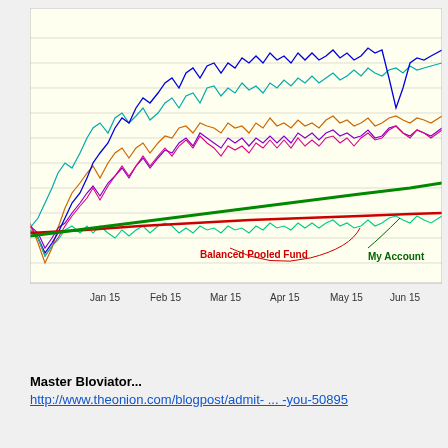[Figure (continuous-plot): Multi-line financial chart showing performance of multiple funds/accounts from Jan 15 to approximately Jul, with two labeled lines: 'Balanced Pooled Fund' (red, relatively flat/slight upward trend) and 'My Account' (green, steady upward trend). Multiple other colored volatile lines (cyan, blue, purple, orange, pink, teal) are also shown above. X-axis labels: Jan 15, Feb 15, Mar 15, Apr 15, May 15, Jun 15. Background is light yellow with horizontal gridlines.]
Master Bloviator...
http://www.theonion.com/blogpost/admit- ... -you-50895